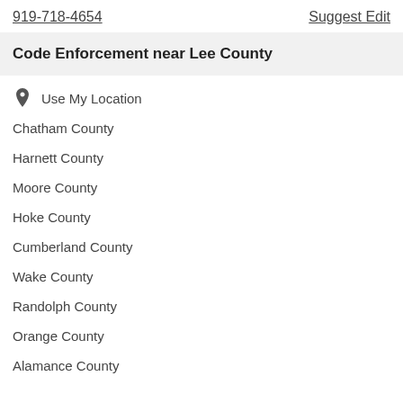919-718-4654
Suggest Edit
Code Enforcement near Lee County
Use My Location
Chatham County
Harnett County
Moore County
Hoke County
Cumberland County
Wake County
Randolph County
Orange County
Alamance County